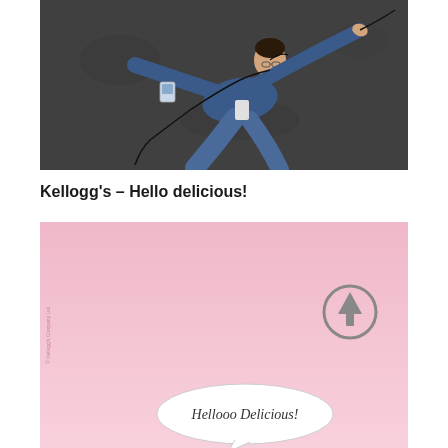[Figure (photo): Aerial/overhead view of a young man lying on dark asphalt ground with headphones/earphones cords spread around him, wearing a blue hoodie and jeans, with a small white MP3 player visible nearby.]
Kellogg’s – Hello delicious!
[Figure (illustration): Pink background advertisement image with a speech bubble reading 'Hellooo Delicious!' in handwritten style, and a circular arrow/up icon in grey on the right side. Small vertical text visible on the left edge.]